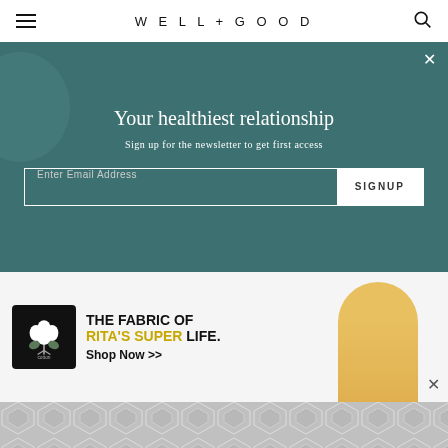WELL+GOOD
Your healthiest relationship
Sign up for the newsletter to get first access
Enter Email Address  SIGNUP
[Figure (photo): Cotton brand advertisement banner: cotton logo (white cotton boll on black background), text 'THE FABRIC OF RITA'S SUPER LIFE.' with 'RITA'S SUPER' in gold/yellow, 'Shop Now >>' below, woman in yellow dress on right side.]
[Figure (photo): Background showing a partial vehicle or outdoor scene, and a geometric hexagonal pattern at the bottom.]